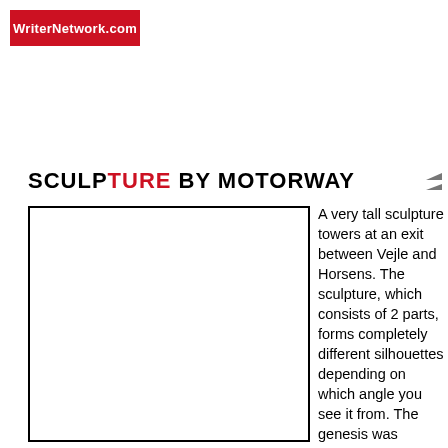WriterNetwork.com
SCULPTURE BY MOTORWAY
[Figure (photo): Empty white rectangular image placeholder outlined with a black border]
A very tall sculpture towers at an exit between Vejle and Horsens. The sculpture, which consists of 2 parts, forms completely different silhouettes depending on which angle you see it from. The genesis was